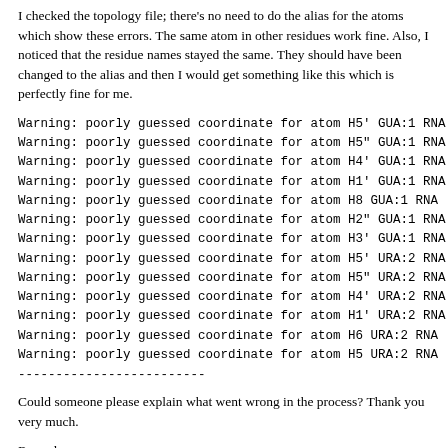I checked the topology file; there's no need to do the alias for the atoms which show these errors. The same atom in other residues work fine. Also, I noticed that the residue names stayed the same. They should have been changed to the alias and then I would get something like this which is perfectly fine for me.
Warning: poorly guessed coordinate for atom H5' GUA:1 RNA
Warning: poorly guessed coordinate for atom H5" GUA:1 RNA
Warning: poorly guessed coordinate for atom H4' GUA:1 RNA
Warning: poorly guessed coordinate for atom H1' GUA:1 RNA
Warning: poorly guessed coordinate for atom H8 GUA:1 RNA
Warning: poorly guessed coordinate for atom H2" GUA:1 RNA
Warning: poorly guessed coordinate for atom H3' GUA:1 RNA
Warning: poorly guessed coordinate for atom H5' URA:2 RNA
Warning: poorly guessed coordinate for atom H5" URA:2 RNA
Warning: poorly guessed coordinate for atom H4' URA:2 RNA
Warning: poorly guessed coordinate for atom H1' URA:2 RNA
Warning: poorly guessed coordinate for atom H6 URA:2 RNA
Warning: poorly guessed coordinate for atom H5 URA:2 RNA
-------------------------
Could someone please explain what went wrong in the process? Thank you very much.
Regards,
Thanawadee